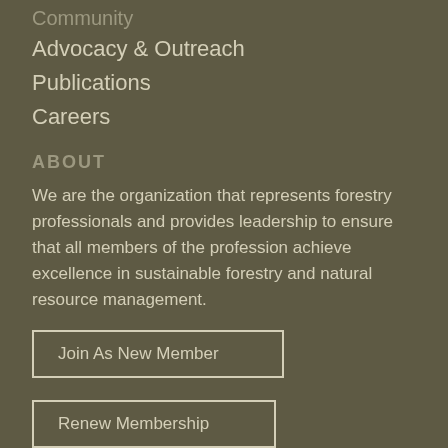Community
Advocacy & Outreach
Publications
Careers
ABOUT
We are the organization that represents forestry professionals and provides leadership to ensure that all members of the profession achieve excellence in sustainable forestry and natural resource management.
Join As New Member
Renew Membership
Donate